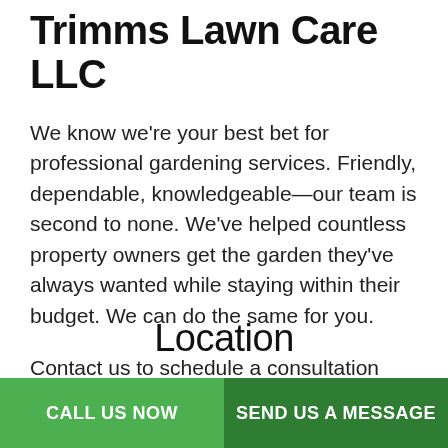Coral Springs, Choose Quick Trimms Lawn Care LLC
We know we’re your best bet for professional gardening services. Friendly, dependable, knowledgeable—our team is second to none. We’ve helped countless property owners get the garden they’ve always wanted while staying within their budget. We can do the same for you.
Contact us to schedule a consultation today.
Location
CALL US NOW | SEND US A MESSAGE